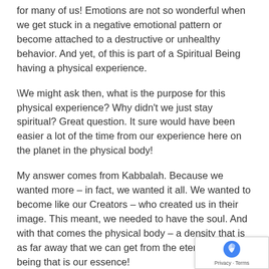for many of us!  Emotions are not so wonderful when we get stuck in a negative emotional pattern or become attached to a destructive or unhealthy behavior.  And yet, of this is part of a Spiritual Being having a physical experience.
\We might ask then, what is the purpose for this physical experience?  Why didn't we just stay spiritual?  Great question.  It sure would have been easier a lot of the time from our experience here on the planet in the physical body!
My answer comes from Kabbalah.  Because we wanted more – in fact, we wanted it all.  We wanted to become like our Creators – who created us in their image.  This meant, we needed to have the soul.  And with that comes the physical body – a density that is as far away that we can get from the eternal spiritual being that is our essence!
I don't know about you, but when I realized that I actually